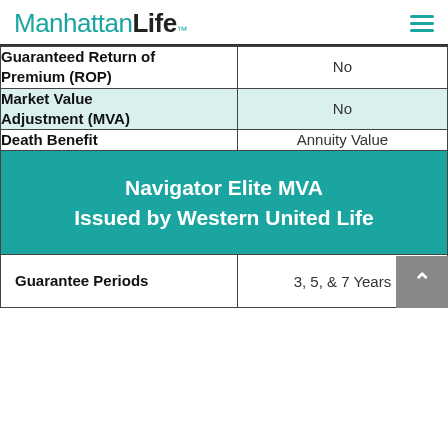ManhattanLife™
| Feature | Value |
| --- | --- |
| Guaranteed Return of Premium (ROP) | No |
| Market Value Adjustment (MVA) | No |
| Death Benefit | Annuity Value |
| Navigator Elite MVA Issued by Western United Life |  |
| Guarantee Periods | 3, 5, & 7 Years |